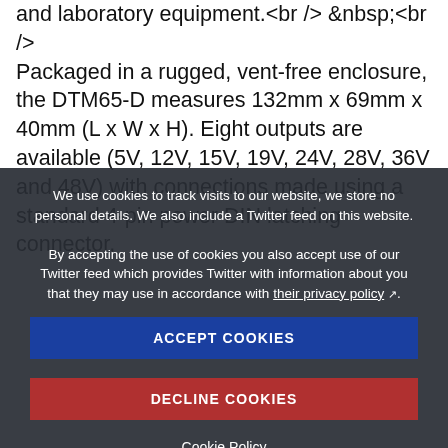and laboratory equipment. Packaged in a rugged, vent-free enclosure, the DTM65-D measures 132mm x 69mm x 40mm (L x W x H). Eight outputs are available (5V, 12V, 15V, 19V, 24V, 28V, 36V and 48V) with connections made using a standard 4-pin power DIN latching connector,
We use cookies to track visits to our website, we store no personal details. We also include a Twitter feed on this website.
By accepting the use of cookies you also accept use of our Twitter feed which provides Twitter with information about you that they may use in accordance with their privacy policy.
ACCEPT COOKIES
DECLINE COOKIES
Cookie Policy